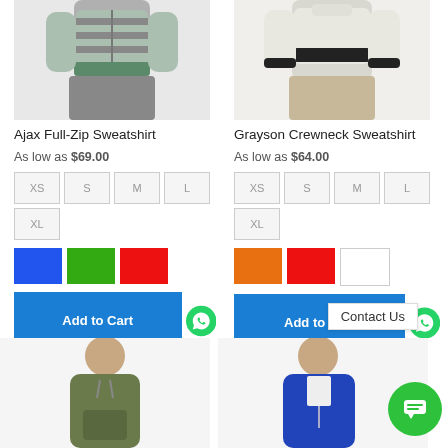[Figure (photo): Top half of man wearing striped zip sweatshirt, cropped at waist]
Ajax Full-Zip Sweatshirt
As low as $69.00
XS S M L XL (size buttons)
[Figure (other): Color swatches: blue, green, red]
Add to Cart
[Figure (photo): Top half of man wearing crewneck sweatshirt, cropped at waist]
Grayson Crewneck Sweatshirt
As low as $64.00
XS S M L XL (size buttons)
[Figure (other): Color swatches: orange, red, white]
Add to Cart
[Figure (photo): Man wearing olive hoodie sweatshirt, lower body product image]
[Figure (photo): Man wearing blue zip hoodie sweatshirt, lower body product image]
Contact Us